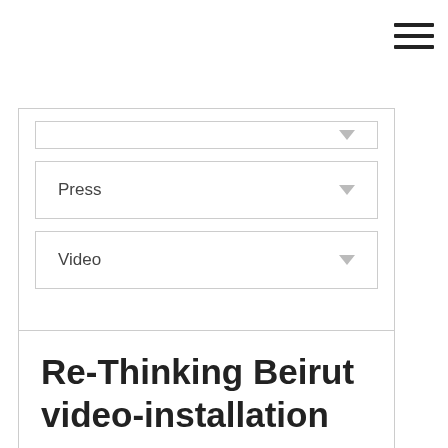[Figure (other): Hamburger menu icon (three horizontal lines) in top-right corner]
Press
Video
Re-Thinking Beirut video-installation